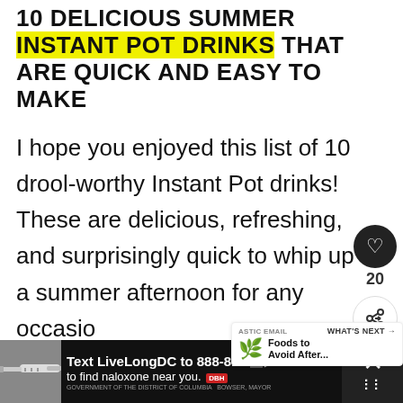10 DELICIOUS SUMMER INSTANT POT DRINKS THAT ARE QUICK AND EASY TO MAKE
I hope you enjoyed this list of 10 drool-worthy Instant Pot drinks! These are delicious, refreshing, and surprisingly quick to whip up on a summer afternoon for any occasion. What's your favorite on so far? Let us know in the comments below!
[Figure (other): Advertisement banner: Text LiveLongDC to 888-811 to find naloxone near you.]
[Figure (other): Social media sidebar with heart icon showing 20 likes and share icon]
[Figure (other): What's Next popup showing Foods to Avoid After...]